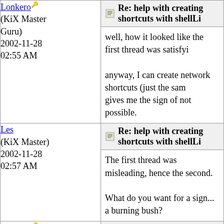| Author | Post |
| --- | --- |
| Lonkero (KiX Master Guru) 2002-11-28 02:55 AM | Re: help with creating shortcuts with shellLi... | well, how it looked like the first thread was satisfyi... anyway, I can create network shortcuts (just the sam... gives me the sign of not possible. |
| Les (KiX Master) 2002-11-28 02:57 AM | Re: help with creating shortcuts with shellLi... | The first thread was misleading, hence the second. What do you want for a sign... a burning bush? |
| Lonkero (KiX Master Guru) 2002-11-28 02:58 AM | Re: help with creating shortcuts with shellLi... | that should do. |
| Les (KiX Master) 2002-11-28 03:00 AM | Re: help with creating shortcuts with shellLi... | Maybe after you drink a bottle of vodka. [Big Gr... |